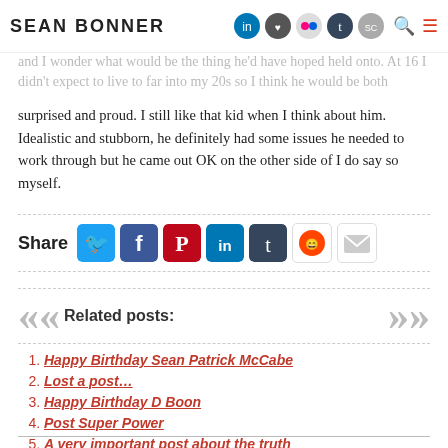SEAN BONNER
surprised and proud. I still like that kid when I think about him. Idealistic and stubborn, he definitely had some issues he needed to work through but he came out OK on the other side of I do say so myself.
[Figure (infographic): Share buttons for Twitter, Facebook, Pinterest, LinkedIn, Tumblr, Reddit, and Email with 'Share' label]
[Figure (infographic): Related posts navigation with left and right chevron arrows]
Happy Birthday Sean Patrick McCabe
Lost a post…
Happy Birthday D Boon
Post Super Power
A very important post about the truth